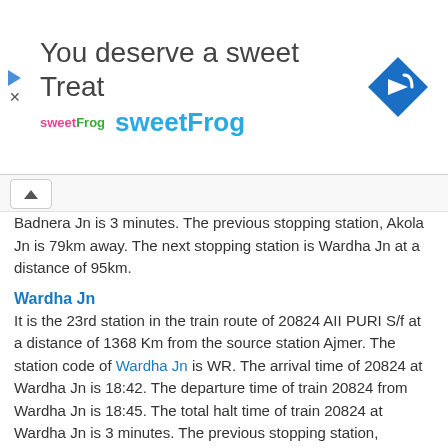[Figure (other): Advertisement banner for sweetFrog frozen yogurt. Headline: 'You deserve a sweet Treat', brand name 'sweetFrog' in blue, logo on left, navigation/map icon on right.]
Badnera Jn is 3 minutes. The previous stopping station, Akola Jn is 79km away. The next stopping station is Wardha Jn at a distance of 95km.
Wardha Jn
It is the 23rd station in the train route of 20824 AII PURI S/f at a distance of 1368 Km from the source station Ajmer. The station code of Wardha Jn is WR. The arrival time of 20824 at Wardha Jn is 18:42. The departure time of train 20824 from Wardha Jn is 18:45. The total halt time of train 20824 at Wardha Jn is 3 minutes. The previous stopping station, Badnera Jn is 95km away. The next stopping station is Nagpur at a distance of 78km.
Nagpur
It is the 24th station in the train route of 20824 AII PURI S/f at a distance of 1446 Km from the source station Ajmer. The